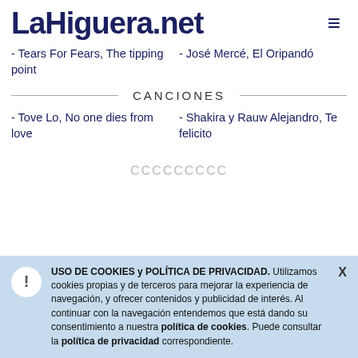LaHiguera.net
- Tears For Fears, The tipping point
- José Mercé, El Oripandó
CANCIONES
- Tove Lo, No one dies from love
- Shakira y Rauw Alejandro, Te felicito
USO DE COOKIES y POLÍTICA DE PRIVACIDAD. Utilizamos cookies propias y de terceros para mejorar la experiencia de navegación, y ofrecer contenidos y publicidad de interés. Al continuar con la navegación entendemos que está dando su consentimiento a nuestra política de cookies. Puede consultar la política de privacidad correspondiente.